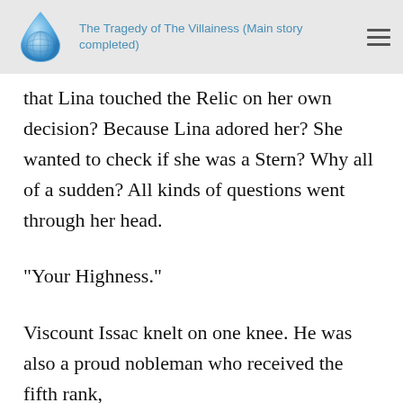The Tragedy of The Villainess (Main story completed)
that Lina touched the Relic on her own decision? Because Lina adored her? She wanted to check if she was a Stern? Why all of a sudden? All kinds of questions went through her head.
“Your Highness.”
Viscount Issac knelt on one knee. He was also a proud nobleman who received the fifth rank,